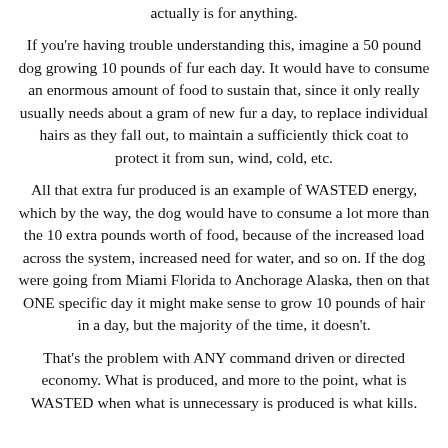actually is for anything.
If you're having trouble understanding this, imagine a 50 pound dog growing 10 pounds of fur each day. It would have to consume an enormous amount of food to sustain that, since it only really usually needs about a gram of new fur a day, to replace individual hairs as they fall out, to maintain a sufficiently thick coat to protect it from sun, wind, cold, etc.
All that extra fur produced is an example of WASTED energy, which by the way, the dog would have to consume a lot more than the 10 extra pounds worth of food, because of the increased load across the system, increased need for water, and so on. If the dog were going from Miami Florida to Anchorage Alaska, then on that ONE specific day it might make sense to grow 10 pounds of hair in a day, but the majority of the time, it doesn't.
That's the problem with ANY command driven or directed economy. What is produced, and more to the point, what is WASTED when what is unnecessary is produced is what kills.